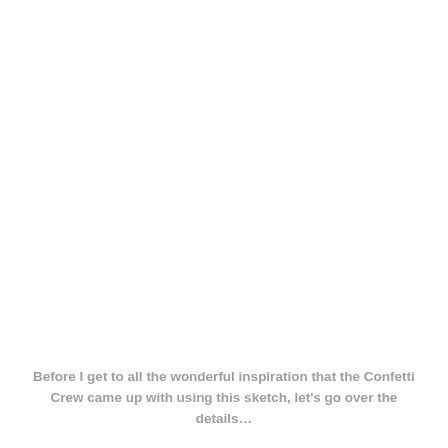Before I get to all the wonderful inspiration that the Confetti Crew came up with using this sketch, let's go over the details...